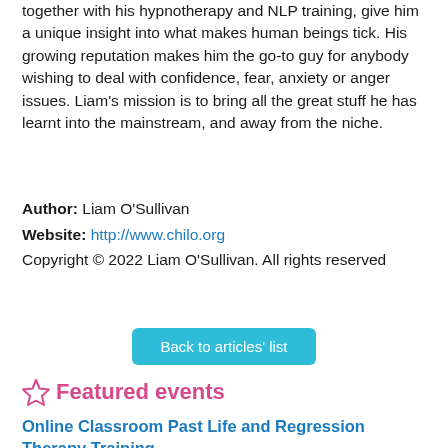together with his hypnotherapy and NLP training, give him a unique insight into what makes human beings tick. His growing reputation makes him the go-to guy for anybody wishing to deal with confidence, fear, anxiety or anger issues. Liam's mission is to bring all the great stuff he has learnt into the mainstream, and away from the niche.
Author: Liam O'Sullivan
Website: http://www.chilo.org
Copyright © 2022 Liam O'Sullivan. All rights reserved
Back to articles' list
Featured events
Online Classroom Past Life and Regression Therapy Training
16/02/2023
Salisbury Wiltshire